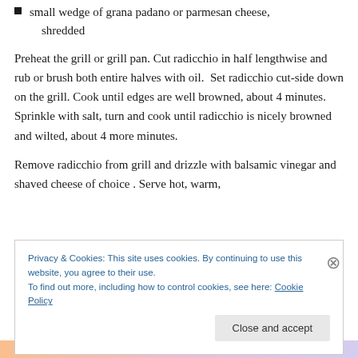small wedge of grana padano or parmesan cheese, shredded
Preheat the grill or grill pan. Cut radicchio in half lengthwise and rub or brush both entire halves with oil.  Set radicchio cut-side down on the grill. Cook until edges are well browned, about 4 minutes.  Sprinkle with salt, turn and cook until radicchio is nicely browned and wilted, about 4 more minutes.
Remove radicchio from grill and drizzle with balsamic vinegar and shaved cheese of choice . Serve hot, warm,
Privacy & Cookies: This site uses cookies. By continuing to use this website, you agree to their use.
To find out more, including how to control cookies, see here: Cookie Policy
Close and accept